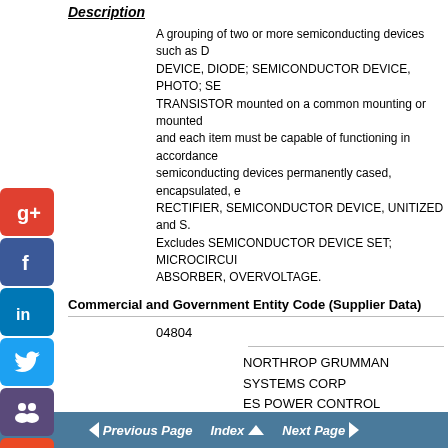Description
A grouping of two or more semiconducting devices such as DEVICE, DIODE; SEMICONDUCTOR DEVICE, PHOTO; SEMICONDUCTOR TRANSISTOR mounted on a common mounting or mounted and each item must be capable of functioning in accordance semiconducting devices permanently cased, encapsulated, RECTIFIER, SEMICONDUCTOR DEVICE, UNITIZED and S. Excludes SEMICONDUCTOR DEVICE SET; MICROCIRCUIT ABSORBER, OVERVOLTAGE.
Commercial and Government Entity Code (Supplier Data)
04804
NORTHROP GRUMMAN SYSTEMS CORP
ES POWER CONTROL SYSTEMS - MS8910
7301 SYKESVILLE RD
SYKESVILLE
MD
Previous Page  Index  Next Page